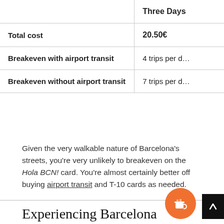|  | Three Days |
| --- | --- |
| Total cost | 20.50€ |
| Breakeven with airport transit | 4 trips per d… |
| Breakeven without airport transit | 7 trips per d… |
Given the very walkable nature of Barcelona's streets, you're very unlikely to breakeven on the Hola BCN! card. You're almost certainly better off buying airport transit and T-10 cards as needed.
Experiencing Barcelona with the Barcelona Card